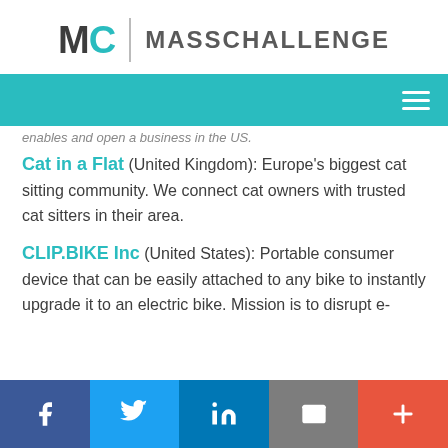[Figure (logo): MassChallenge logo with MC initials and text]
Navigation bar with hamburger menu
...enables and open a business in the US.
Cat in a Flat (United Kingdom): Europe's biggest cat sitting community. We connect cat owners with trusted cat sitters in their area.
CLIP.BIKE Inc (United States): Portable consumer device that can be easily attached to any bike to instantly upgrade it to an electric bike. Mission is to disrupt e-
[Figure (other): Social sharing bar with Facebook, Twitter, LinkedIn, Email, and More buttons]